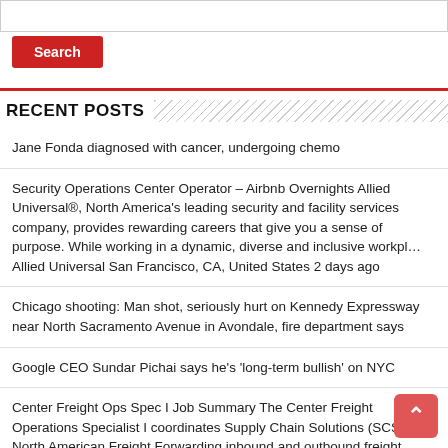RECENT POSTS
Jane Fonda diagnosed with cancer, undergoing chemo
Security Operations Center Operator – Airbnb Overnights Allied Universal®, North America's leading security and facility services company, provides rewarding careers that give you a sense of purpose. While working in a dynamic, diverse and inclusive workpl… Allied Universal San Francisco, CA, United States 2 days ago
Chicago shooting: Man shot, seriously hurt on Kennedy Expressway near North Sacramento Avenue in Avondale, fire department says
Google CEO Sundar Pichai says he's 'long-term bullish' on NYC
Center Freight Ops Spec I Job Summary The Center Freight Operations Specialist I coordinates Supply Chain Solutions (SCS) North American Freight Forwarding inbound and outbound freight shipments and deliveries, dispatches driv… UPS Inglewood, CA, United States 2 days ago